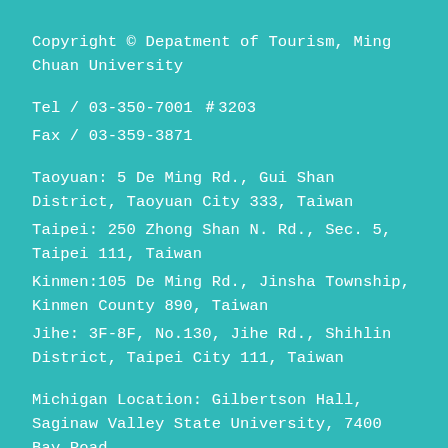Copyright © Depatment of Tourism, Ming Chuan University
Tel / 03-350-7001 ＃3203
Fax / 03-359-3871
Taoyuan: 5 De Ming Rd., Gui Shan District, Taoyuan City 333, Taiwan
Taipei: 250 Zhong Shan N. Rd., Sec. 5, Taipei 111, Taiwan
Kinmen:105 De Ming Rd., Jinsha Township, Kinmen County 890, Taiwan
Jihe: 3F-8F, No.130, Jihe Rd., Shihlin District, Taipei City 111, Taiwan
Michigan Location: Gilbertson Hall, Saginaw Valley State University, 7400 Bay Road,